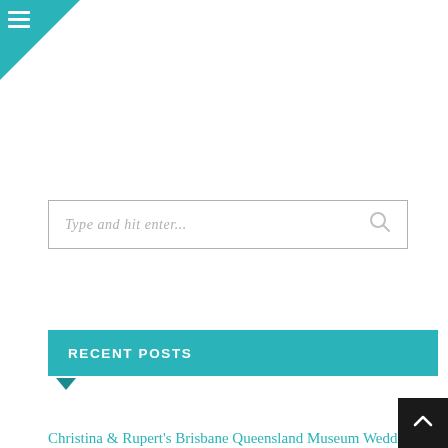[Figure (other): Teal triangle in top-left corner with white hamburger menu icon]
[Figure (screenshot): Search input box with placeholder text 'Type and hit enter...' and a search/magnifying glass icon on the right]
RECENT POSTS
Christina & Rupert's Brisbane Queensland Museum Wedding
Maci-Lee & Carmen's Gympie Baby Announcement
Mariana & Nate's Montville Secrets on the Lake Weddin